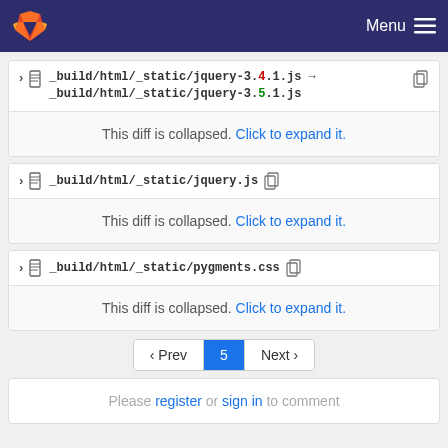Menu
_build/html/_static/jquery-3.4.1.js → _build/html/_static/jquery-3.5.1.js
This diff is collapsed. Click to expand it.
_build/html/_static/jquery.js
This diff is collapsed. Click to expand it.
_build/html/_static/pygments.css
This diff is collapsed. Click to expand it.
‹ Prev  5  Next ›
Please register or sign in to comment